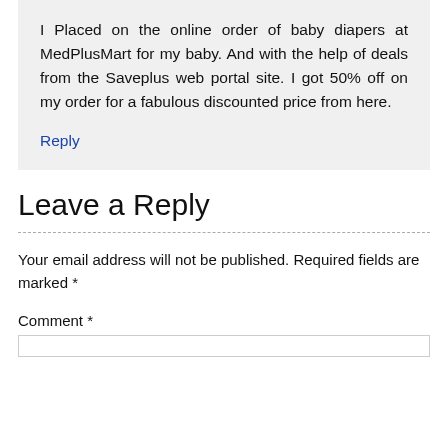I Placed on the online order of baby diapers at MedPlusMart for my baby. And with the help of deals from the Saveplus web portal site. I got 50% off on my order for a fabulous discounted price from here.
Reply
Leave a Reply
Your email address will not be published. Required fields are marked *
Comment *